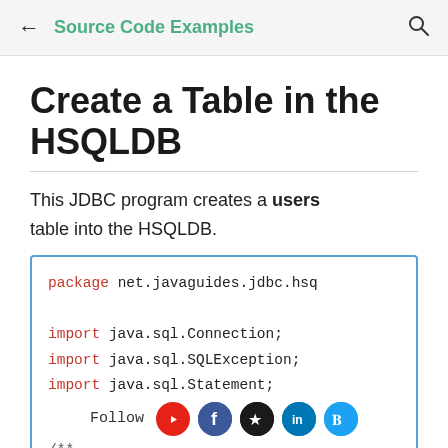← Source Code Examples 🔍
Create a Table in the HSQLDB
This JDBC program creates a users table into the HSQLDB.
[Figure (screenshot): Java code block showing: package net.javaguides.jdbc.hsq; import java.sql.Connection; import java.sql.SQLException; import java.sql.Statement; /**]
Follow [YouTube, Facebook, GitHub, LinkedIn, Twitter]